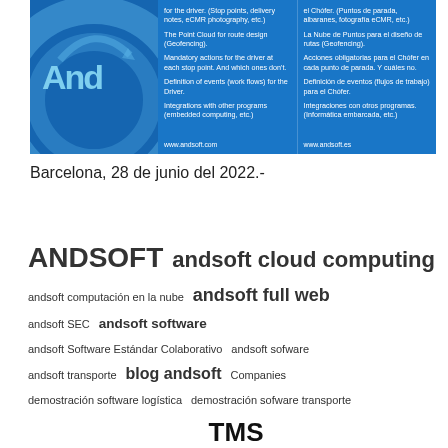[Figure (screenshot): Andsoft promotional banner with two-column bilingual text (English/Spanish) on blue background with logo on the left showing 'And' text and circular arc design. Lists features like stop points, Point Cloud for route design, mandatory actions, events/workflows, integrations. URLs: www.andsoft.com and www.andsoft.es shown at bottom.]
Barcelona, 28 de junio del 2022.-
ANDSOFT  andsoft cloud computing  andsoft computación en la nube  andsoft full web  andsoft SEC  andsoft software  andsoft Software Estándar Colaborativo  andsoft sofware  andsoft transporte  blog andsoft  Companies  demostración software logística  demostración sofware transporte  TMS